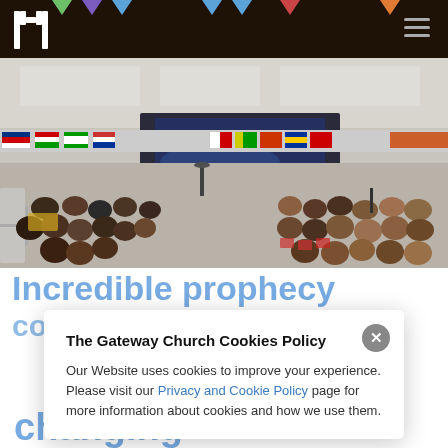[Figure (screenshot): Website screenshot showing a church website with navigation bar containing a white block logo and hamburger menu on dark brown background, colorful diamond/chevron icons at top, hero photo of a conference hall filled with people seated in rows facing a stage with international flags hanging overhead, large blue partially-visible heading text 'Incredible prophecy... come alive about... changing', and a cookie consent modal dialog overlaid on top.]
The Gateway Church Cookies Policy
Our Website uses cookies to improve your experience. Please visit our Privacy and Cookie Policy page for more information about cookies and how we use them.